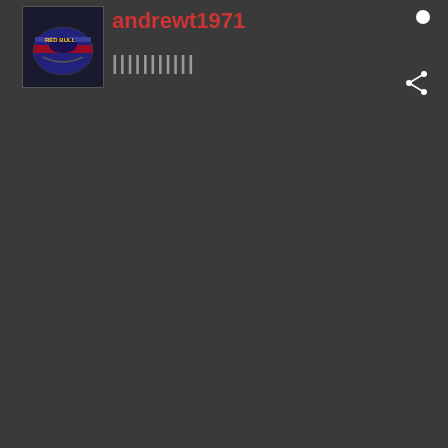[Figure (photo): User avatar showing a racing helmet with blue/dark colors and some text/logo on it]
andrewt1971
[Figure (other): White circle status indicator dot in top right corner]
|||||||||||
[Figure (other): Share icon (three connected dots) in dark grey area]